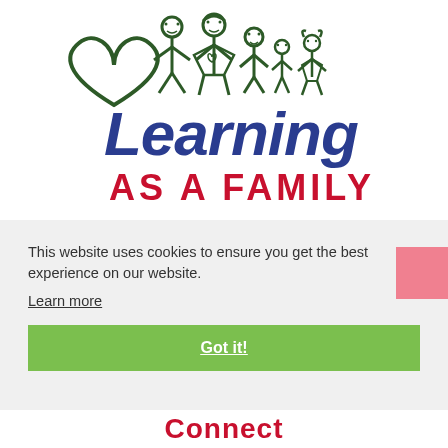[Figure (logo): Learning As A Family logo with illustrated stick figures of a family (adults and children) holding hands next to a heart outline, with 'Learning' in blue cursive script and 'AS A FAMILY' in red bold capital letters]
This website uses cookies to ensure you get the best experience on our website.
Learn more
Got it!
Connect